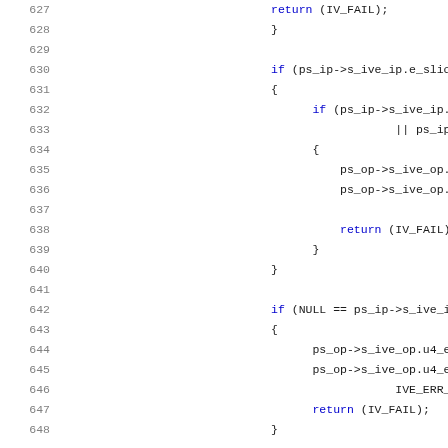Source code listing, lines 627-648, C code with line numbers
627     return (IV_FAIL);
628     }
629
630     if (ps_ip->s_ive_ip.e_slice_mode ==
631     {
632         if (ps_ip->s_ive_ip.u4_slice_pa
633                         || ps_ip->s_ive
634         {
635             ps_op->s_ive_op.u4_error_co
636             ps_op->s_ive_op.u4_error_co
637                             IH264E_SLIC
638             return (IV_FAIL);
639         }
640     }
641
642     if (NULL == ps_ip->s_ive_ip.ps_mem_
643     {
644         ps_op->s_ive_op.u4_error_code |
645         ps_op->s_ive_op.u4_error_code |
646                         IVE_ERR_FILL_NU
647         return (IV_FAIL);
648     }